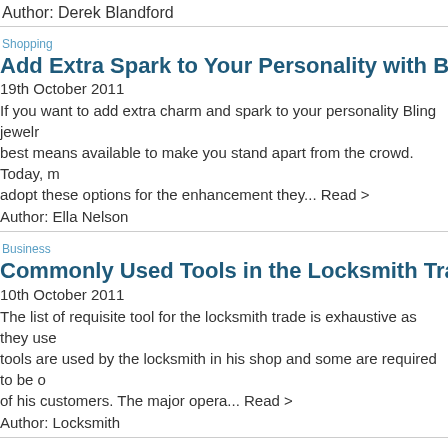Author: Derek Blandford
Shopping
Add Extra Spark to Your Personality with Bling Jewelry or F
19th October 2011
If you want to add extra charm and spark to your personality Bling jewelr best means available to make you stand apart from the crowd. Today, m adopt these options for the enhancement they... Read >
Author: Ella Nelson
Business
Commonly Used Tools in the Locksmith Trade
10th October 2011
The list of requisite tool for the locksmith trade is exhaustive as they use tools are used by the locksmith in his shop and some are required to be of his customers. The major opera... Read >
Author: Locksmith
Fashion
Experience the Celeb Magic Of Hair Extensions
05th October 2011
There are a range of distinctive varieties of hair extension on the sector a